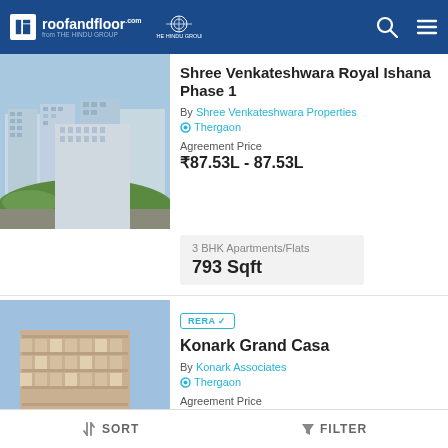roofandfloor.com | THE HINDU GROUP
[Figure (photo): Aerial view of Shree Venkateshwara Royal Ishana Phase 1 apartment complex with green surroundings]
Shree Venkateshwara Royal Ishana Phase 1
By Shree Venkateshwara Properties
Thergaon
Agreement Price
₹87.53L - 87.53L
3 BHK Apartments/Flats
793 Sqft
[Figure (photo): Exterior view of Konark Grand Casa apartment building]
RERA ✓
Konark Grand Casa
By Konark Associates
Thergaon
Agreement Price
₹77.49L - 77.99L
SORT | FILTER